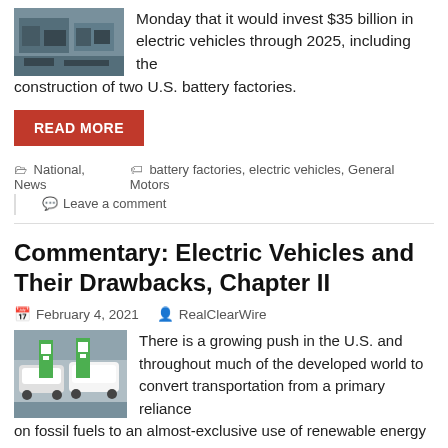[Figure (photo): Photo of what appears to be a factory or industrial setting with machinery]
Monday that it would invest $35 billion in electric vehicles through 2025, including the construction of two U.S. battery factories.
READ MORE
National, News   battery factories, electric vehicles, General Motors
Leave a comment
Commentary: Electric Vehicles and Their Drawbacks, Chapter II
February 4, 2021   RealClearWire
[Figure (photo): Photo of electric vehicles at a charging station]
There is a growing push in the U.S. and throughout much of the developed world to convert transportation from a primary reliance on fossil fuels to an almost-exclusive use of renewable energy (wind and solar). With this goal come promises of unlimited clean and free energy, the creation of millions of green jobs, and the benefits of being on the planet for as long as it claims to...